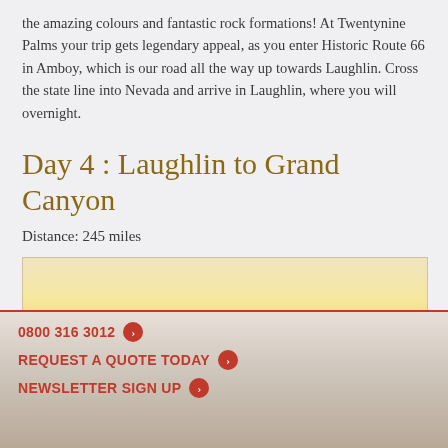the amazing colours and fantastic rock formations! At Twentynine Palms your trip gets legendary appeal, as you enter Historic Route 66 in Amboy, which is our road all the way up towards Laughlin. Cross the state line into Nevada and arrive in Laughlin, where you will overnight.
Day 4 : Laughlin to Grand Canyon
Distance: 245 miles
[Figure (photo): Landscape photo showing golden/amber sky and desert scenery, likely Grand Canyon area]
0800 316 3012  REQUEST A QUOTE TODAY  NEWSLETTER SIGN UP